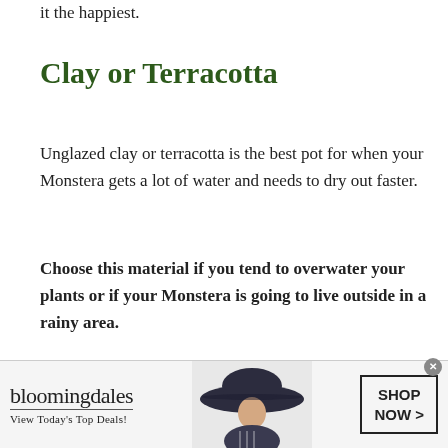it the happiest.
Clay or Terracotta
Unglazed clay or terracotta is the best pot for when your Monstera gets a lot of water and needs to dry out faster.
Choose this material if you tend to overwater your plants or if your Monstera is going to live outside in a rainy area.
[Figure (other): Bloomingdale's advertisement banner with logo, 'View Today's Top Deals!' tagline, woman in hat photo, and 'SHOP NOW >' call-to-action button]